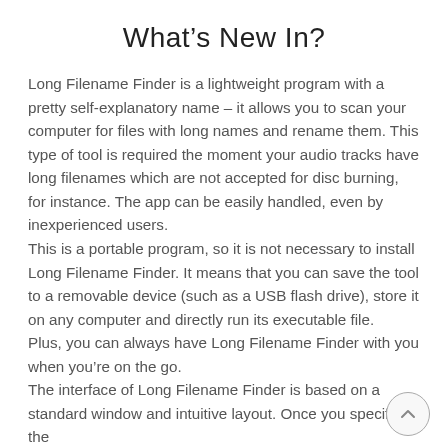What’s New In?
Long Filename Finder is a lightweight program with a pretty self-explanatory name – it allows you to scan your computer for files with long names and rename them. This type of tool is required the moment your audio tracks have long filenames which are not accepted for disc burning, for instance. The app can be easily handled, even by inexperienced users.
This is a portable program, so it is not necessary to install Long Filename Finder. It means that you can save the tool to a removable device (such as a USB flash drive), store it on any computer and directly run its executable file.
Plus, you can always have Long Filename Finder with you when you’re on the go.
The interface of Long Filename Finder is based on a standard window and intuitive layout. Once you specify the